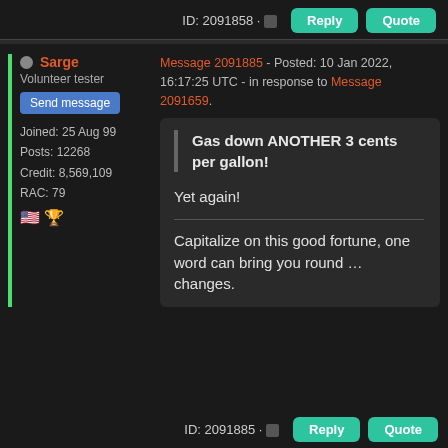ID: 2091858 · Reply Quote
Sarge
Volunteer tester
Send message
Joined: 25 Aug 99
Posts: 12268
Credit: 8,569,109
RAC: 79
Message 2091885 - Posted: 10 Jan 2022, 16:17:25 UTC - in response to Message 2091659.

Gas down ANOTHER 3 cents per gallon!

Yet again!

Capitalize on this good fortune, one word can bring you round … changes.
ID: 2091885 · Reply Quote